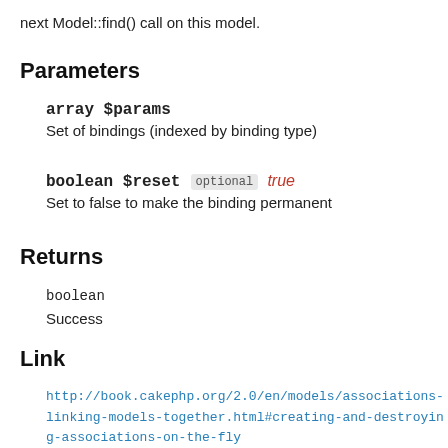next Model::find() call on this model.
Parameters
array $params
Set of bindings (indexed by binding type)
boolean $reset optional true
Set to false to make the binding permanent
Returns
boolean
Success
Link
http://book.cakephp.org/2.0/en/models/associations-linking-models-together.html#creating-and-destroying-associations-on-the-fly